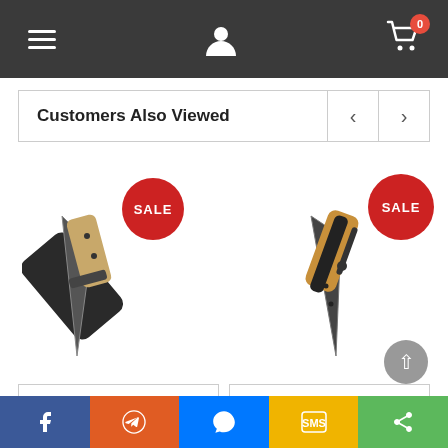Navigation bar with menu, user, and cart (0 items)
Customers Also Viewed
[Figure (photo): Schrade fixed blade knife with black blade and tan handle, shown with black kydex sheath. Red SALE badge in top right of image.]
[Figure (photo): Schrade folding knife with black blade and tan/black handle. Red SALE badge in top right of image.]
Schrade 4.75" Dr...
Schrade 3.5" Ultr...
Social sharing bar: Facebook, Reddit, Messenger, SMS, Share